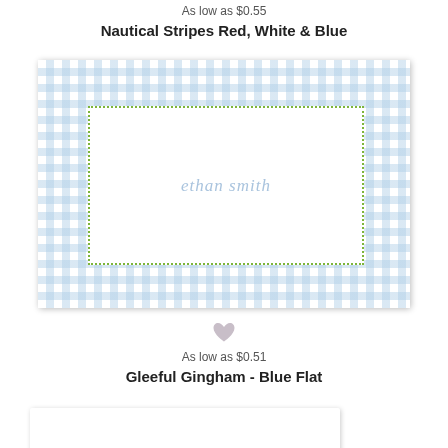As low as $0.55
Nautical Stripes Red, White & Blue
[Figure (illustration): Greeting card with light blue gingham/plaid pattern background and a white rectangle with green dotted border in the center. The name 'ethan smith' is written in light blue italic serif font inside the white rectangle.]
[Figure (illustration): Small gray heart icon (wishlist/favorite button)]
As low as $0.51
Gleeful Gingham - Blue Flat
[Figure (illustration): Greeting card showing colorful letters 'riley' in mixed colors (teal, green, purple, magenta) in a large bold serif font, partially cropped at bottom of page.]